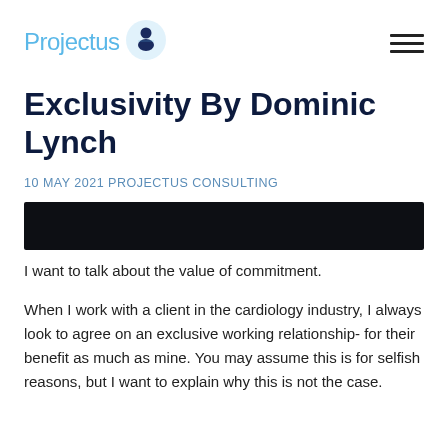Projectus [logo icon]
Exclusivity By Dominic Lynch
10 MAY 2021 PROJECTUS CONSULTING
[Figure (photo): Dark/black hero image banner bar]
I want to talk about the value of commitment.
When I work with a client in the cardiology industry, I always look to agree on an exclusive working relationship- for their benefit as much as mine. You may assume this is for selfish reasons, but I want to explain why this is not the case.